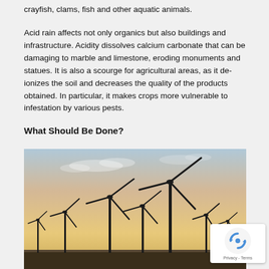crayfish, clams, fish and other aquatic animals.
Acid rain affects not only organics but also buildings and infrastructure. Acidity dissolves calcium carbonate that can be damaging to marble and limestone, eroding monuments and statues. It is also a scourge for agricultural areas, as it de-ionizes the soil and decreases the quality of the products obtained. In particular, it makes crops more vulnerable to infestation by various pests.
What Should Be Done?
[Figure (photo): Wind farm at sunset showing multiple wind turbines silhouetted against an orange-yellow sky with light clouds]